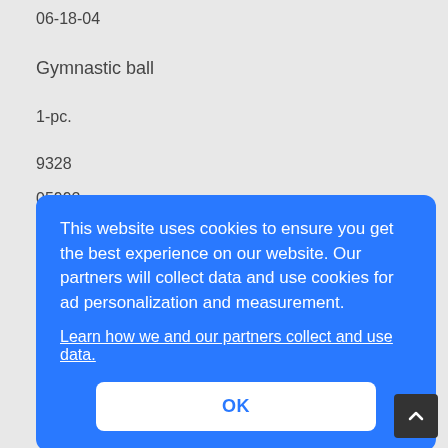06-18-04
Gymnastic ball
1-pc.
9328
05992
This website uses cookies to ensure you get the best experience on our website. Our partners will collect data and use cookies for ad personalization and measurement.
Learn how we and our partners collect and use data.
OK